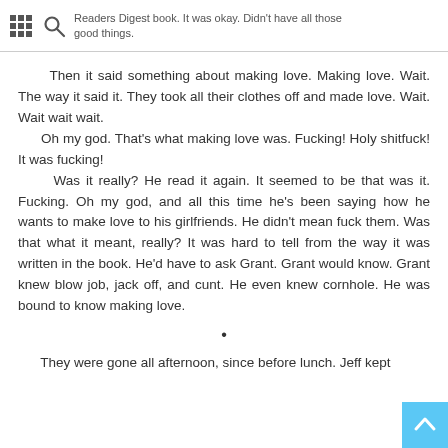Readers Digest book. It was okay. Didn't have all those good things.
Then it said something about making love. Making love. Wait. The way it said it. They took all their clothes off and made love. Wait. Wait wait wait.
Oh my god. That's what making love was. Fucking! Holy shitfuck! It was fucking!
Was it really? He read it again. It seemed to be that was it. Fucking. Oh my god, and all this time he's been saying how he wants to make love to his girlfriends. He didn't mean fuck them. Was that what it meant, really? It was hard to tell from the way it was written in the book. He'd have to ask Grant. Grant would know. Grant knew blow job, jack off, and cunt. He even knew cornhole. He was bound to know making love.
•
They were gone all afternoon, since before lunch. Jeff kept